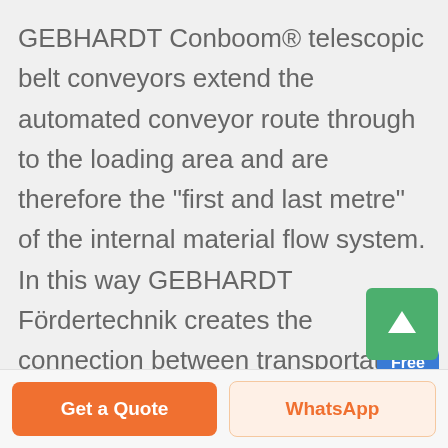GEBHARDT Conboom® telescopic belt conveyors extend the automated conveyor route through to the loading area and are therefore the "first and last metre" of the internal material flow system. In this way GEBHARDT Fördertechnik creates the connection between transportation logistics and incoming goods with the delivery of packaged goods or ...
[Figure (illustration): Chat widget with person figure and blue 'Free chat' button]
[Figure (illustration): Green upward arrow scroll-to-top button]
Get a Quote
WhatsApp